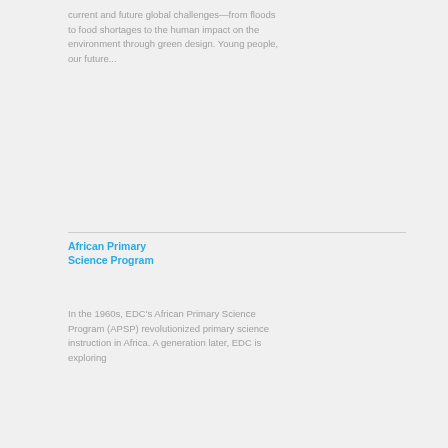current and future global challenges—from floods to food shortages to the human impact on the environment through green design. Young people, our future...
African Primary Science Program
In the 1960s, EDC's African Primary Science Program (APSP) revolutionized primary science instruction in Africa. A generation later, EDC is exploring